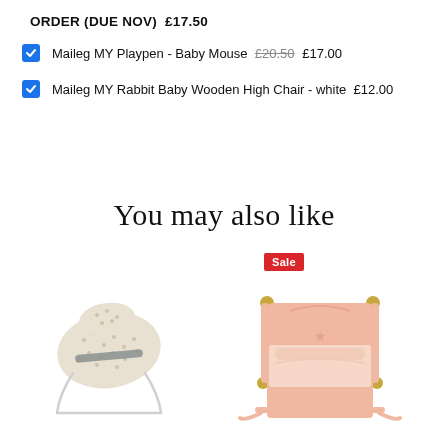ORDER (DUE NOV)  £17.50
Maileg MY Playpen - Baby Mouse  £20.50  £17.00
Maileg MY Rabbit Baby Wooden High Chair - white  £12.00
You may also like
[Figure (photo): Sale badge (red rectangle with white text 'Sale') above two product images: a baby bouncer seat on the left and a pink wooden baby crib/cradle on the right]
[Figure (photo): Baby bouncer seat with dotted fabric and grey strap on white wire frame]
[Figure (photo): Pink wooden miniature baby cradle/crib with gold ball finials and bedding]